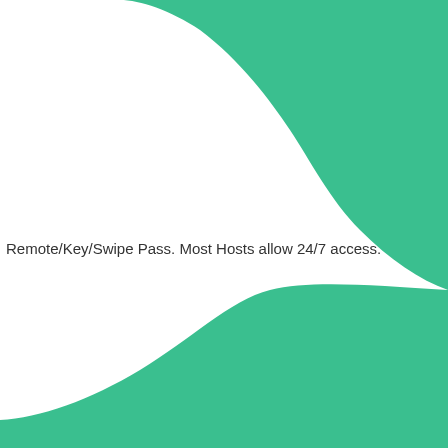[Figure (illustration): Decorative green S-curve / wave shape covering the top-right and bottom-right corners of the page, with a white negative space in between forming an arrow or swoosh pointing left.]
Remote/Key/Swipe Pass. Most Hosts allow 24/7 access.